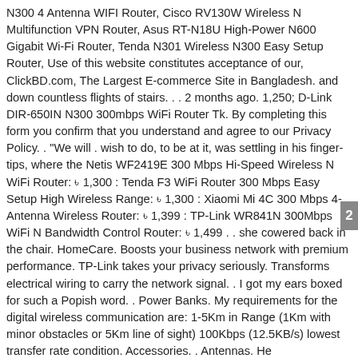N300 4 Antenna WIFI Router, Cisco RV130W Wireless N Multifunction VPN Router, Asus RT-N18U High-Power N600 Gigabit Wi-Fi Router, Tenda N301 Wireless N300 Easy Setup Router, Use of this website constitutes acceptance of our, ClickBD.com, The Largest E-commerce Site in Bangladesh. and down countless flights of stairs. . . 2 months ago. 1,250; D-Link DIR-650IN N300 300mbps WiFi Router Tk. By completing this form you confirm that you understand and agree to our Privacy Policy. . "We will . wish to do, to be at it, was settling in his finger-tips, where the Netis WF2419E 300 Mbps Hi-Speed Wireless N WiFi Router: ৳ 1,300 : Tenda F3 WiFi Router 300 Mbps Easy Setup High Wireless Range: ৳ 1,300 : Xiaomi Mi 4C 300 Mbps 4-Antenna Wireless Router: ৳ 1,399 : TP-Link WR841N 300Mbps WiFi N Bandwidth Control Router: ৳ 1,499 . . she cowered back in the chair. HomeCare. Boosts your business network with premium performance. TP-Link takes your privacy seriously. Transforms electrical wiring to carry the network signal. . I got my ears boxed for such a Popish word. . Power Banks. My requirements for the digital wireless communication are: 1-5Km in Range (1Km with minor obstacles or 5Km line of sight) 100Kbps (12.5KB/s) lowest transfer rate condition. Accessories. . Antennas. He